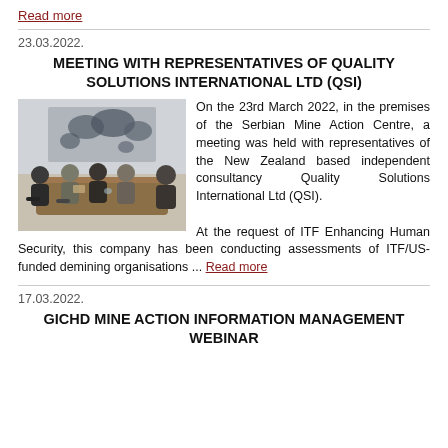Read more
23.03.2022.
MEETING WITH REPRESENTATIVES OF QUALITY SOLUTIONS INTERNATIONAL LTD (QSI)
[Figure (photo): People seated around a conference table in a meeting room with a world map on the wall]
On the 23rd March 2022, in the premises of the Serbian Mine Action Centre, a meeting was held with representatives of the New Zealand based independent consultancy Quality Solutions International Ltd (QSI). At the request of ITF Enhancing Human Security, this company has been conducting assessments of ITF/US-funded demining organisations ... Read more
17.03.2022.
GICHD MINE ACTION INFORMATION MANAGEMENT WEBINAR